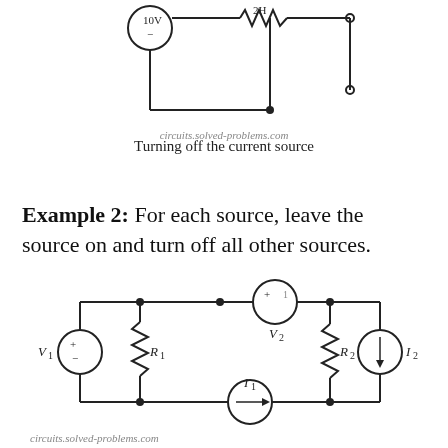[Figure (circuit-diagram): Partial circuit diagram at top of page showing a voltage source, resistor (2H), and open terminal connected in series.]
circuits.solved-problems.com
Turning off the current source
Example 2: For each source, leave the source on and turn off all other sources.
[Figure (circuit-diagram): Full circuit diagram with voltage source V1 (+ -), resistor R1, voltage source V2 (+ -), resistor R2, current source I1 (rightward arrow), and current source I2 (downward arrow), all interconnected in a network.]
circuits.solved-problems.com